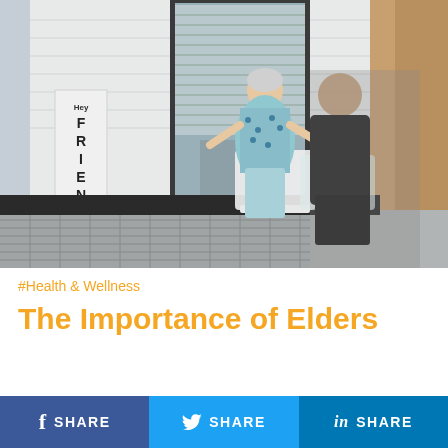[Figure (photo): Two people sitting on a porch in rocking chairs having a conversation. An elderly woman in a floral blouse and light blue pants faces a man in a dark shirt. A 'Hey FRIENDS' sign is visible on the left side of the porch near sliding glass doors.]
#Health & Wellness
The Importance of Elders
[Figure (infographic): Three social media share buttons side by side: Facebook SHARE (blue), Twitter SHARE (light blue), LinkedIn SHARE (dark blue)]